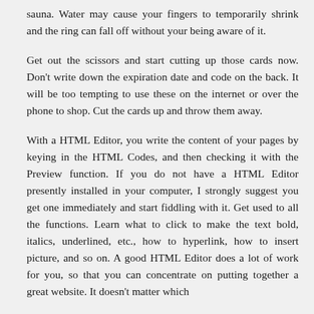sauna. Water may cause your fingers to temporarily shrink and the ring can fall off without your being aware of it.
Get out the scissors and start cutting up those cards now. Don't write down the expiration date and code on the back. It will be too tempting to use these on the internet or over the phone to shop. Cut the cards up and throw them away.
With a HTML Editor, you write the content of your pages by keying in the HTML Codes, and then checking it with the Preview function. If you do not have a HTML Editor presently installed in your computer, I strongly suggest you get one immediately and start fiddling with it. Get used to all the functions. Learn what to click to make the text bold, italics, underlined, etc., how to hyperlink, how to insert picture, and so on. A good HTML Editor does a lot of work for you, so that you can concentrate on putting together a great website. It doesn't matter which